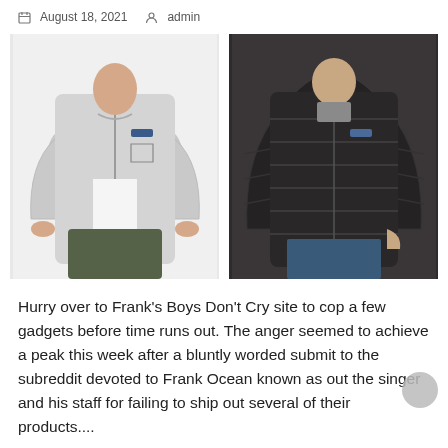August 18, 2021   admin
[Figure (photo): Two product photos side by side: left shows a man wearing a light gray Patagonia fleece zip-up jacket; right shows a man wearing a dark/black Patagonia hooded puffer jacket.]
Hurry over to Frank's Boys Don't Cry site to cop a few gadgets before time runs out. The anger seemed to achieve a peak this week after a bluntly worded submit to the subreddit devoted to Frank Ocean known as out the singer and his staff for failing to ship out several of their products....